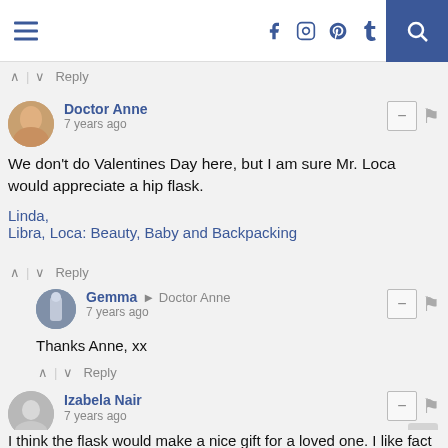Navigation bar with hamburger menu, social icons (f, instagram, pinterest, t), and search button
^ | v Reply
Doctor Anne
7 years ago
We don't do Valentines Day here, but I am sure Mr. Loca would appreciate a hip flask.
Linda,
Libra, Loca: Beauty, Baby and Backpacking
^ | v Reply
Gemma → Doctor Anne
7 years ago
Thanks Anne, xx
^ | v Reply
Izabela Nair
7 years ago
I think the flask would make a nice gift for a loved one. I like fact that they offer an engraving service.